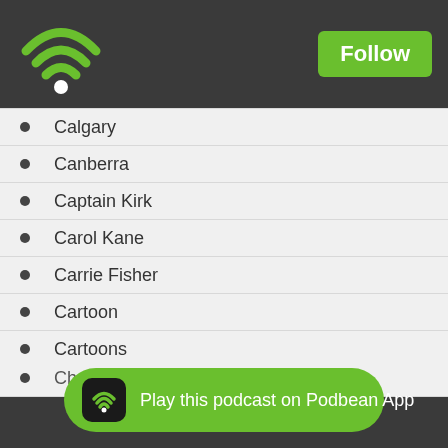[Figure (logo): Podbean WiFi/podcast logo icon in green on dark header bar]
Follow
Calgary
Canberra
Captain Kirk
Carol Kane
Carrie Fisher
Cartoon
Cartoons
Cartridges
Charles...
Play this podcast on Podbean App